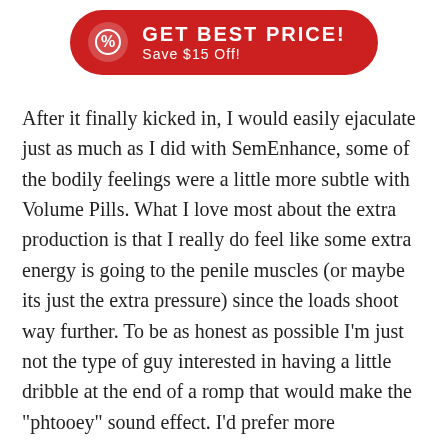[Figure (other): Red pill-shaped call-to-action button with a discount badge icon on the left, text 'GET BEST PRICE!' in bold white capitals and 'Save $15 Off!' below it]
After it finally kicked in, I would easily ejaculate just as much as I did with SemEnhance, some of the bodily feelings were a little more subtle with Volume Pills. What I love most about the extra production is that I really do feel like some extra energy is going to the penile muscles (or maybe its just the extra pressure) since the loads shoot way further. To be as honest as possible I'm just not the type of guy interested in having a little dribble at the end of a romp that would make the "phtooey" sound effect. I'd prefer more xxxxxxxx is all.